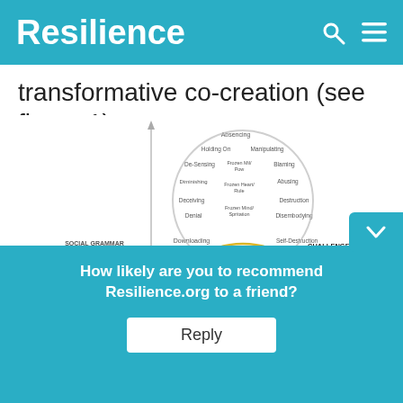Resilience
transformative co-creation (see figure 1).
[Figure (other): Diagram showing Social Grammar of Destruction and Social Grammar of Co-Creation with labels: Absencing, Holding On, Manipulating, De-Sensing, Frozen Mil/Pow, Blaming, Diminishing, Frozen Heart/Rule, Abusing, Deceiving, Destruction, Denial, Frozen Mind/Spritation, Disembodying, Downloading, Self-Destruction, Co-Creation, Suspending, Embodying, Seeing, Currently Open Mind, Prototyping, Empathizing, Compassion Open Heart, Enacting, Sensing, Courage Open Will, Crystallizing, Letting Go, Letting Come, Presencing. Challenge: Disruption label on right. Social Grammar of Destruction and Social Grammar of Co-Creation labels on left.]
Figu... Two